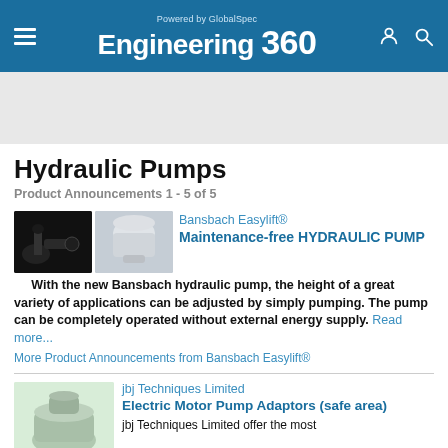Powered by GlobalSpec Engineering 360
Hydraulic Pumps
Product Announcements 1 - 5 of 5
Bansbach Easylift®
Maintenance-free HYDRAULIC PUMP
With the new Bansbach hydraulic pump, the height of a great variety of applications can be adjusted by simply pumping. The pump can be completely operated without external energy supply. Read more...
More Product Announcements from Bansbach Easylift®
jbj Techniques Limited
Electric Motor Pump Adaptors (safe area)
jbj Techniques Limited offer the most